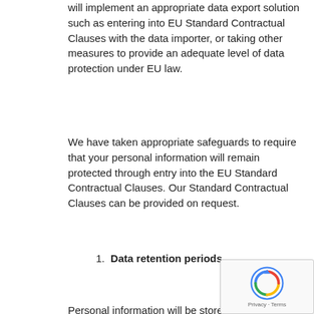will implement an appropriate data export solution such as entering into EU Standard Contractual Clauses with the data importer, or taking other measures to provide an adequate level of data protection under EU law.
We have taken appropriate safeguards to require that your personal information will remain protected through entry into the EU Standard Contractual Clauses. Our Standard Contractual Clauses can be provided on request.
1. Data retention periods
Personal information will be stored in accordance with applicable laws and kept as long as needed to carry out the purposes described in this Notice or as otherwise required by applicable law. Generally this means your personal information will be retained:
if you are successful in our application with us, in accordance with the retention periods specified in our Staff Privacy Notice; or